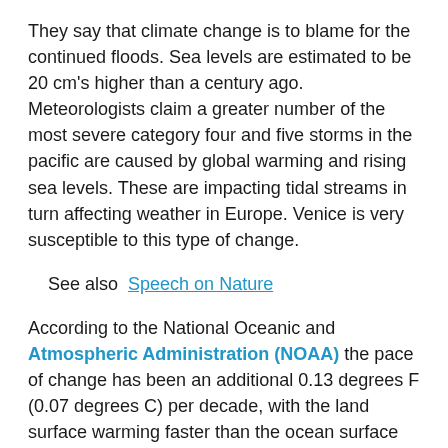They say that climate change is to blame for the continued floods. Sea levels are estimated to be 20 cm's higher than a century ago. Meteorologists claim a greater number of the most severe category four and five storms in the pacific are caused by global warming and rising sea levels. These are impacting tidal streams in turn affecting weather in Europe. Venice is very susceptible to this type of change.
See also  Speech on Nature
According to the National Oceanic and Atmospheric Administration (NOAA) the pace of change has been an additional 0.13 degrees F (0.07 degrees C) per decade, with the land surface warming faster than the ocean surface — 0.18 degrees. The Paris Climate accord signed by 159 nations aims to halt warming 2.7 degrees F (1.5 degrees C) above Earth's average temperature during preindustrial